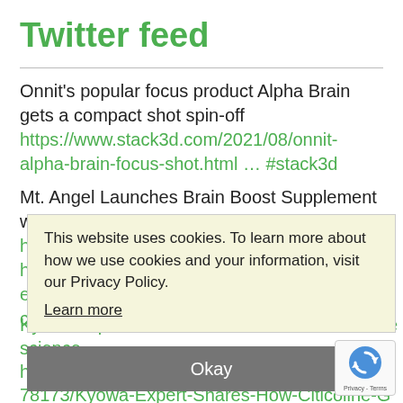Twitter feed
Onnit's popular focus product Alpha Brain gets a compact shot spin-off https://www.stack3d.com/2021/08/onnit-alpha-brain-focus-shot.html … #stack3d
Mt. Angel Launches Brain Boost Supplement with Cognizin Citicoline. http://www.nutritionaloutlook.com/brain-health/mt-angel-launches-brain-boost-supplement-cognizin-citicoline?cid=sm.nuto.site.nosocial.
This website uses cookies. To learn more about how we use cookies and your information, visit our Privacy Policy. Learn more
Kyowa expert shares Citicoline and Glutathione science https://www.bioportfolio.com/news/article/3478173/Kyowa-Expert-Shares-How-Citicoline-Glutathione-are-Key-to-Immune-Brain-Health.html …
[Figure (logo): reCAPTCHA logo with Privacy - Terms text]